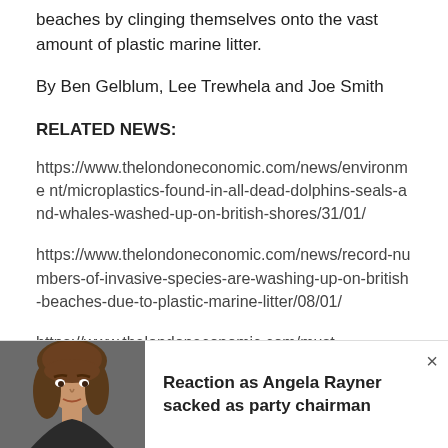beaches by clinging themselves onto the vast amount of plastic marine litter.
By Ben Gelblum, Lee Trewhela and Joe Smith
RELATED NEWS:
https://www.thelondoneconomic.com/news/environment/microplastics-found-in-all-dead-dolphins-seals-and-whales-washed-up-on-british-shores/31/01/
https://www.thelondoneconomic.com/news/record-numbers-of-invasive-species-are-washing-up-on-british-beaches-due-to-plastic-marine-litter/08/01/
https://www.thelondoneconomic.com/must-
[Figure (photo): Photo of a woman with brown hair looking forward, used in an advertisement/promo banner at the bottom of the page]
Reaction as Angela Rayner sacked as party chairman